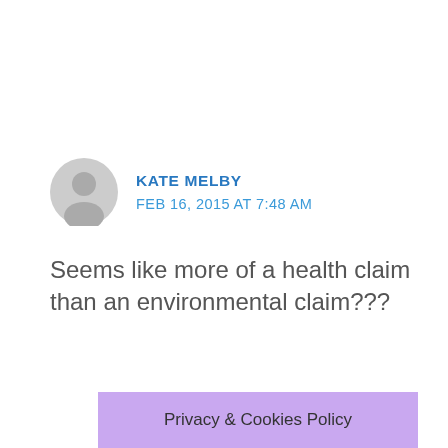KATE MELBY
FEB 16, 2015 AT 7:48 AM
Seems like more of a health claim than an environmental claim???
Privacy & Cookies Policy